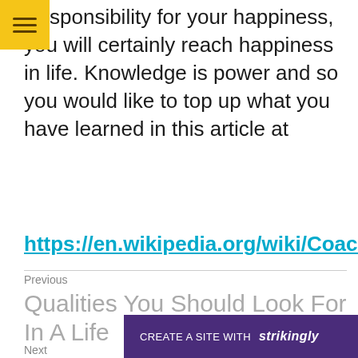sponsibility for your happiness, you will certainly reach happiness in life. Knowledge is power and so you would like to top up what you have learned in this article at
https://en.wikipedia.org/wiki/Coaching.
Previous
Qualities You Should Look For In A Life
Next
CREATE A SITE WITH strikingly